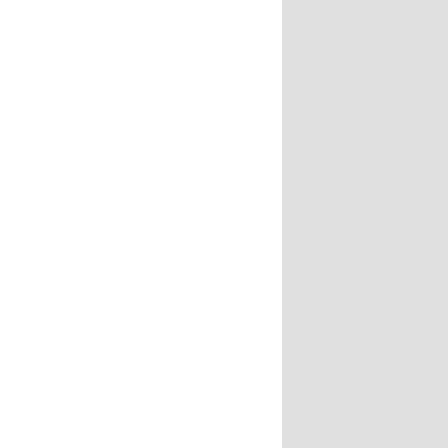SUBCHAPTER E-FELLOWSH...
452
61
62
63
63a
64
64a
65
Fellowships
National Health Service Co...
Loan Repayment Program...
Traineeships
National Institutes of Health...
National Library of Medicin...
Obligated service for mental...
National Institute of Enviro...